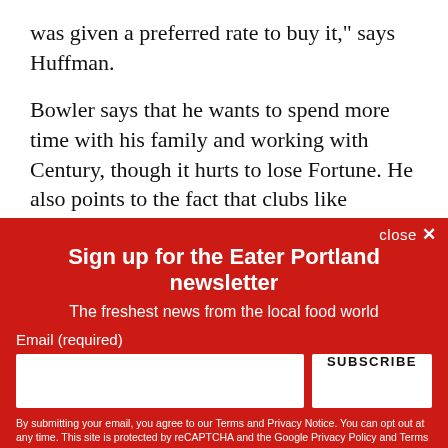was given a preferred rate to buy it,” says Huffman.
Bowler says that he wants to spend more time with his family and working with Century, though it hurts to lose Fortune. He also points to the fact that clubs like Fortune and Century have been struggling, and will continue to do so in the face of the pandemic, especially with so little aid from local and federal governments, and that it was almost not
close ×
Sign up for the Eater Portland newsletter
The freshest news from the local food world
Email (required)
SUBSCRIBE
By submitting your email, you agree to our Terms and Privacy Notice. You can opt out at any time. This site is protected by reCAPTCHA and the Google Privacy Policy and Terms of Service apply.